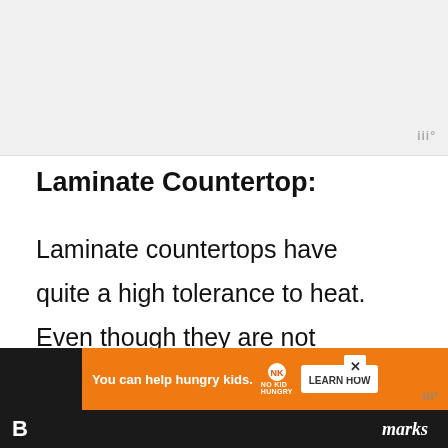[Figure (photo): Light gray placeholder image area at top of page]
Laminate Countertop:
Laminate countertops have quite a high tolerance to heat. Even though they are not completely safe from the heat of the air fryer, it is very unlikely that they would crack from it.
[Figure (screenshot): Advertisement banner: 'You can help hungry kids.' with No Kid Hungry logo and LEARN HOW button on orange background]
B    marks